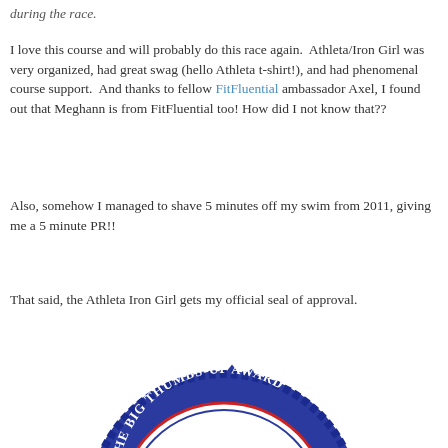during the race.
I love this course and will probably do this race again. Athleta/Iron Girl was very organized, had great swag (hello Athleta t-shirt!), and had phenomenal course support.  And thanks to fellow FitFluential ambassador Axel, I found out that Meghann is from FitFluential too! How did I not know that??
Also, somehow I managed to shave 5 minutes off my swim from 2011, giving me a 5 minute PR!!
That said, the Athleta Iron Girl gets my official seal of approval.
[Figure (illustration): A circular blue badge reading 'THE BIG THUMBS-UP AWARD' with a thumbs-up illustration in the center, partially visible at bottom of page]